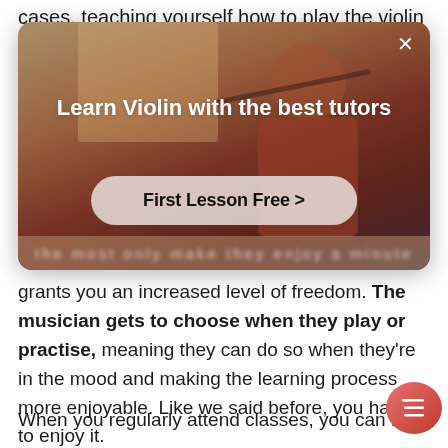cases, teaching yourself how to play the violin
[Figure (screenshot): Advertisement modal overlay showing a person playing violin with text 'Learn Violin with the best tutors' and a 'First Lesson Free >' call-to-action button on a warm brown/red bokeh background]
grants you an increased level of freedom. The musician gets to choose when they play or practise, meaning they can do so when they're in the mood and making the learning process more enjoyable. Like we said before, you have to enjoy it.
When you regularly attend classes, you can feel obligated to play rather than for the fun of it. This